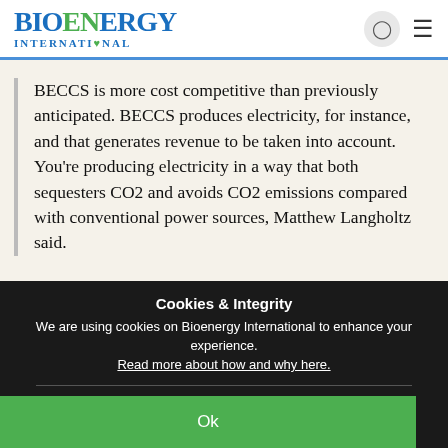Bioenergy International
BECCS is more cost competitive than previously anticipated. BECCS produces electricity, for instance, and that generates revenue to be taken into account. You're producing electricity in a way that both sequesters CO2 and avoids CO2 emissions compared with conventional power sources, Matthew Langholtz said.
The work drew on multiple disciplines across
Cookies & Integrity
We are using cookies on Bioenergy International to enhance your experience.
Read more about how and why here.
Ok